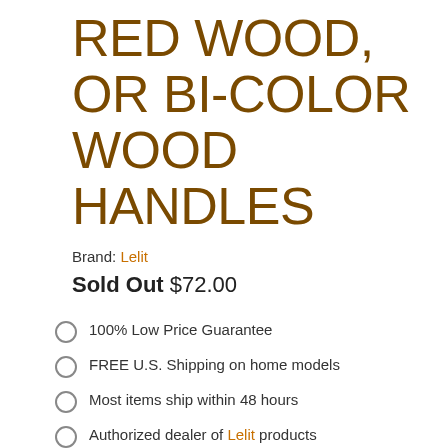RED WOOD, OR BI-COLOR WOOD HANDLES
Brand: Lelit
Sold Out $72.00
100% Low Price Guarantee
FREE U.S. Shipping on home models
Most items ship within 48 hours
Authorized dealer of Lelit products
Have a question? Contact us!